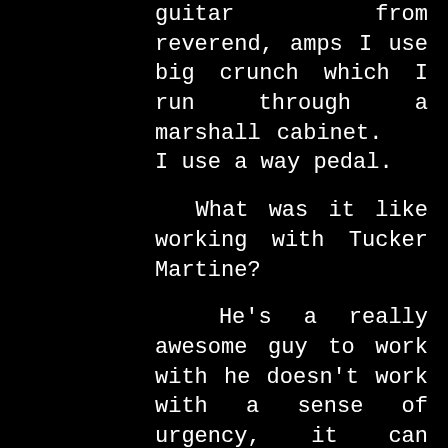guitar from reverend, amps I use big crunch which I run through a marshall cabinet.   I use a way pedal.
What was it like working with Tucker Martine?
He's a really awesome guy to work with he doesn't work with a sense of urgency, it can sometimes be tents in the studio when the clock is running, he dose a good job and keeps calm and always happy to experiment.
You toured with Metallica can you tell us the story about hanging out with them?
We did over 100 shows with